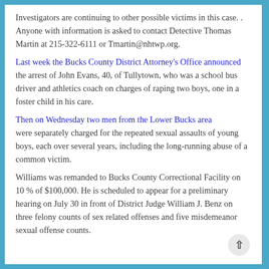Investigators are continuing to other possible victims in this case. . Anyone with information is asked to contact Detective Thomas Martin at 215-322-6111 or Tmartin@nhtwp.org.
Last week the Bucks County District Attorney's Office announced the arrest of John Evans, 40, of Tullytown, who was a school bus driver and athletics coach on charges of raping two boys, one in a foster child in his care.
Then on Wednesday two men from the Lower Bucks area were separately charged for the repeated sexual assaults of young boys, each over several years, including the long-running abuse of a common victim.
Williams was remanded to Bucks County Correctional Facility on 10 % of $100,000. He is scheduled to appear for a preliminary hearing on July 30 in front of District Judge William J. Benz on three felony counts of sex related offenses and five misdemeanor sexual offense counts.